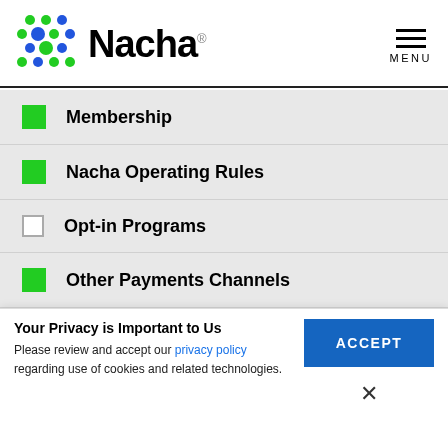[Figure (logo): Nacha logo with colorful dot grid and bold Nacha wordmark]
Membership
Nacha Operating Rules
Opt-in Programs
Other Payments Channels
Products and Solutions
Your Privacy is Important to Us
Please review and accept our privacy policy regarding use of cookies and related technologies.
ACCEPT